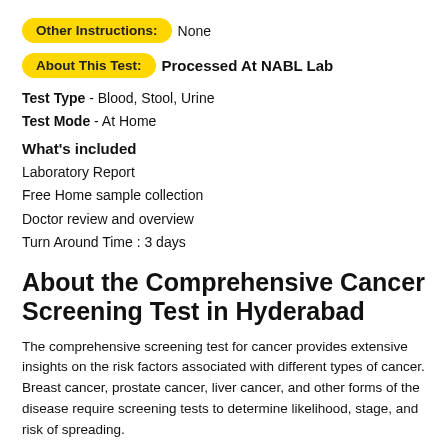Other Instructions: None
About This Test: Processed At NABL Lab
Test Type - Blood, Stool, Urine
Test Mode - At Home
What's included
Laboratory Report
Free Home sample collection
Doctor review and overview
Turn Around Time : 3 days
About the Comprehensive Cancer Screening Test in Hyderabad
The comprehensive screening test for cancer provides extensive insights on the risk factors associated with different types of cancer. Breast cancer, prostate cancer, liver cancer, and other forms of the disease require screening tests to determine likelihood, stage, and risk of spreading.
The Comprehensive Cancer Screening Test in Hyderabad tests for